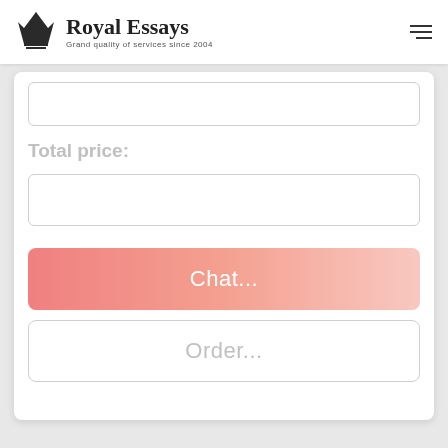[Figure (logo): Royal Essays logo with pen nib icon and text 'Royal Essays' with subtitle 'Grand quality of services since 2004']
Total price:
Chat...
Order...